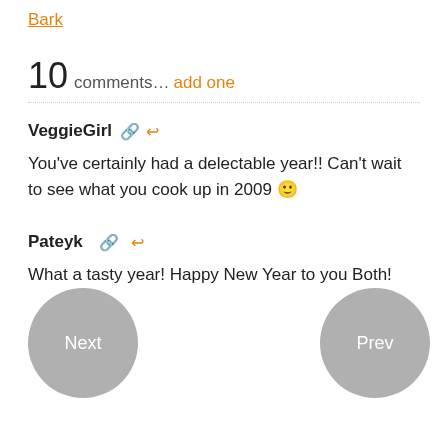Bark
10 comments… add one
VeggieGirl
You've certainly had a delectable year!! Can't wait to see what you cook up in 2009 🙂
Pateyk
What a tasty year! Happy New Year to you Both!